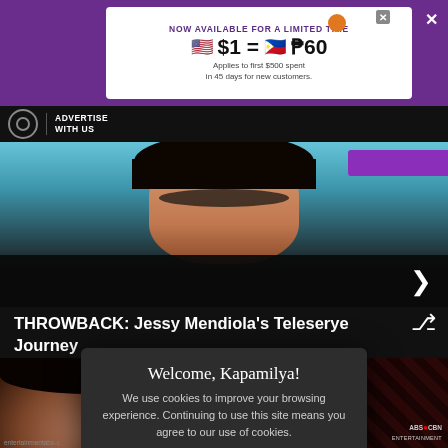[Figure (screenshot): Advertisement banner for Pomelo with purple background showing '$1 = ₱60' exchange rate offer, available for limited time, applies to first $500 spent in 45 days for new customers.]
ADVERTISE WITH US
[Figure (photo): Cropped photo of Jessy Mendiola, a Filipino actress, with a purple graphic overlay in the top right corner.]
THROWBACK: Jessy Mendiola's Teleserye Journey
[Figure (screenshot): Cookie consent modal dialog with dark background. Title: 'Welcome, Kapamilya!' Body: 'We use cookies to improve your browsing experience. Continuing to use this site means you agree to our use of cookies.' Link: 'Tell me more!' Button: 'I AGREE!']
Paraiso tells the story of a man (Matteo Guidicelli) and shipwrecked and stranded in an island. Romance blossoms in their temporary home and continues as they get back to their respective lives in Manila.